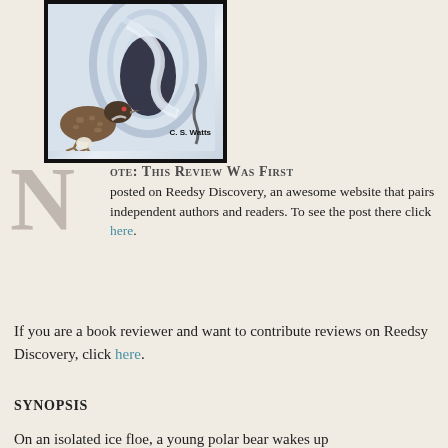[Figure (illustration): Book cover illustration showing a bird (duck/loon) at the bottom left, with swirling abstract background. Author name 'C. S. Watts' in bottom right. Black border frame.]
NOTE: THIS REVIEW WAS FIRST posted on Reedsy Discovery, an awesome website that pairs independent authors and readers. To see the post there click here.
If you are a book reviewer and want to contribute reviews on Reedsy Discovery, click here.
SYNOPSIS
On an isolated ice floe, a young polar bear wakes up